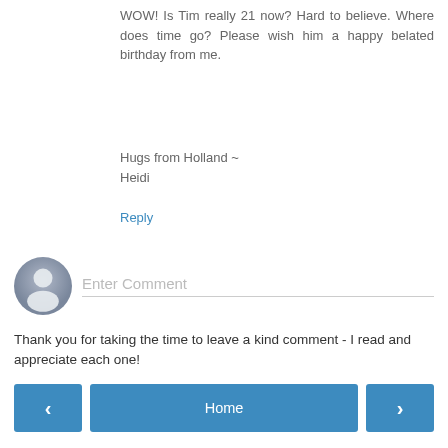WOW! Is Tim really 21 now? Hard to believe. Where does time go? Please wish him a happy belated birthday from me.
Hugs from Holland ~
Heidi
Reply
[Figure (other): Comment input area with avatar icon and 'Enter Comment' placeholder text field]
Thank you for taking the time to leave a kind comment - I read and appreciate each one!
‹  Home  ›
View web version
Powered by Blogger.